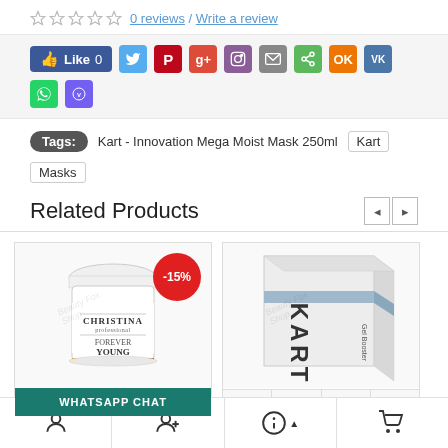0 reviews / Write a review
[Figure (screenshot): Social sharing bar with Facebook Like button (count 0) and social media icons for Twitter, Pinterest, Google+, Instagram, Email, Share, Odnoklassniki, VKontakte, WhatsApp, Viber]
Tags: Kart - Innovation Mega Moist Mask 250ml   Kart   Masks
Related Products
[Figure (photo): Christina Forever Young professional skincare jar with -15% discount badge and WHATSAPP CHAT overlay button]
[Figure (photo): KART Gel Booster white product box]
Bottom navigation bar with user, add user, info, and cart icons